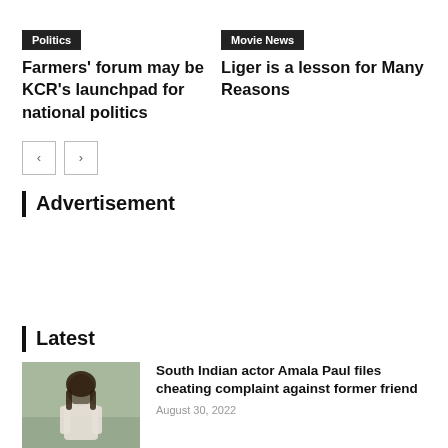Politics
Farmers’ forum may be KCR’s launchpad for national politics
Movie News
Liger is a lesson for Many Reasons
Advertisement
Latest
South Indian actor Amala Paul files cheating complaint against former friend
August 30, 2022